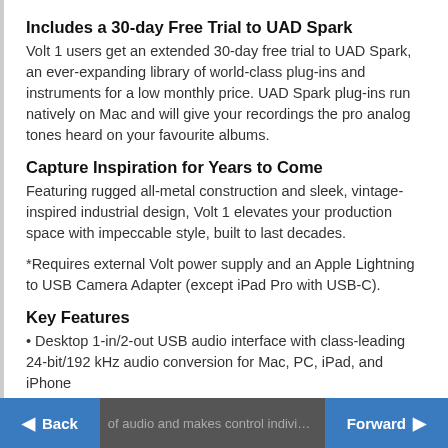Includes a 30-day Free Trial to UAD Spark
Volt 1 users get an extended 30-day free trial to UAD Spark, an ever-expanding library of world-class plug-ins and instruments for a low monthly price. UAD Spark plug-ins run natively on Mac and will give your recordings the pro analog tones heard on your favourite albums.
Capture Inspiration for Years to Come
Featuring rugged all-metal construction and sleek, vintage-inspired industrial design, Volt 1 elevates your production space with impeccable style, built to last decades.
*Requires external Volt power supply and an Apple Lightning to USB Camera Adapter (except iPad Pro with USB-C).
Key Features
• Desktop 1-in/2-out USB audio interface with class-leading 24-bit/192 kHz audio conversion for Mac, PC, iPad, and iPhone
• Vintage Mic Preamp mode lets you record voice or guitar with the rich, full sound of a classic UA tube preamp.
◀ Back    Forward ▶